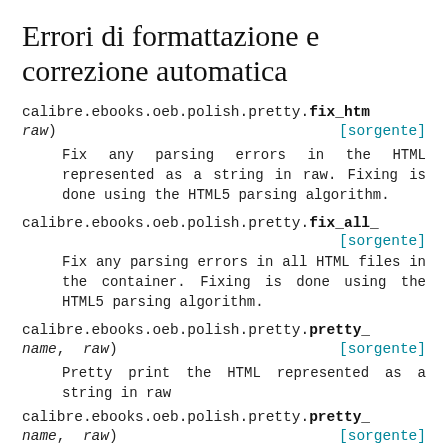Errori di formattazione e correzione automatica
calibre.ebooks.oeb.polish.pretty.fix_htm
raw)	[sorgente]
Fix any parsing errors in the HTML represented as a string in raw. Fixing is done using the HTML5 parsing algorithm.
calibre.ebooks.oeb.polish.pretty.fix_all_
[sorgente]
Fix any parsing errors in all HTML files in the container. Fixing is done using the HTML5 parsing algorithm.
calibre.ebooks.oeb.polish.pretty.pretty_
name, raw)	[sorgente]
Pretty print the HTML represented as a string in raw
calibre.ebooks.oeb.polish.pretty.pretty_
name, raw)	[sorgente]